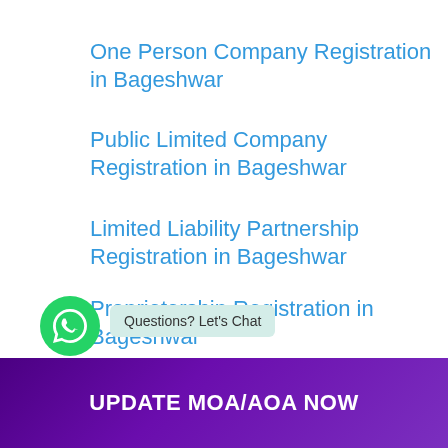One Person Company Registration in Bageshwar
Public Limited Company Registration in Bageshwar
Limited Liability Partnership Registration in Bageshwar
Proprietorship Registration in Bageshwar
Partnership Registration in Bageshwar
Questions? Let's Chat
UPDATE MOA/AOA NOW